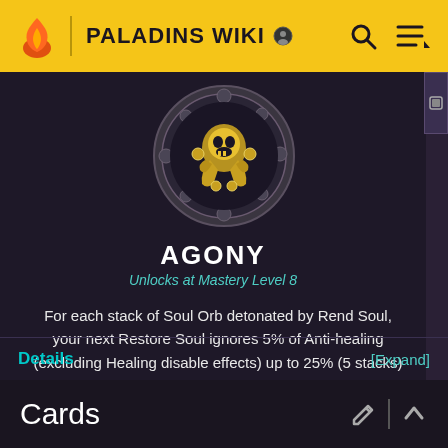PALADINS WIKI
[Figure (illustration): Agony item icon — circular medallion with golden figure on dark stone background]
AGONY
Unlocks at Mastery Level 8
For each stack of Soul Orb detonated by Rend Soul, your next Restore Soul ignores 5% of Anti-healing (excluding Healing disable effects) up to 25% (5 stacks) for up to 10s.
Details
[Expand]
Cards